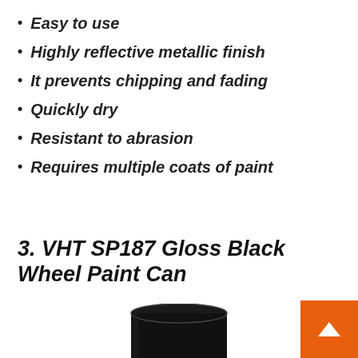Easy to use
Highly reflective metallic finish
It prevents chipping and fading
Quickly dry
Resistant to abrasion
Requires multiple coats of paint
3. VHT SP187 Gloss Black Wheel Paint Can
[Figure (photo): A black cylindrical spray paint can (VHT SP187 Gloss Black Wheel Paint Can) photographed from above, showing the black cap and body of the can against a white background.]